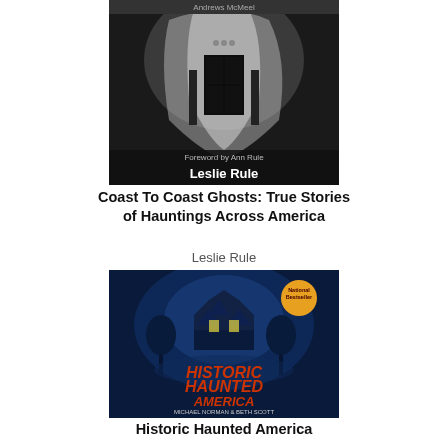[Figure (photo): Book cover of 'Coast To Coast Ghosts: True Stories of Hauntings Across America' by Leslie Rule — dark atmospheric cover with ghostly figure]
Coast To Coast Ghosts: True Stories of Hauntings Across America
Leslie Rule
[Figure (photo): Book cover of 'Historic Haunted America' by Michael Norman & Beth Scott — dark blue cover with glowing haunted house image]
Historic Haunted America
Michael Norman
[Figure (photo): Partial book cover of 'The Complete Idiot's Guide' series visible at bottom as advertisement strip]